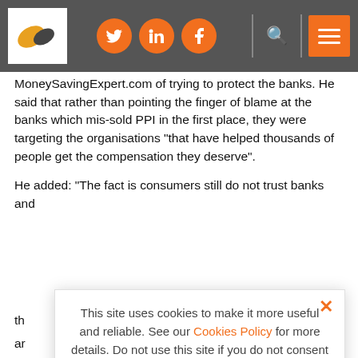MoneySavingExpert.com header with logo, social icons (Twitter, LinkedIn, Facebook), search and menu
MoneySavingExpert.com of trying to protect the banks. He said that rather than pointing the finger of blame at the banks which mis-sold PPI in the first place, they were targeting the organisations "that have helped thousands of people get the compensation they deserve".
He added: “The fact is consumers still do not trust banks and th... a... th...
“T... to p... th... C... di... H...
This site uses cookies to make it more useful and reliable. See our Cookies Policy for more details. Do not use this site if you do not consent to our use of cookies.
I CONSENT
SEE COOKIE POLICY